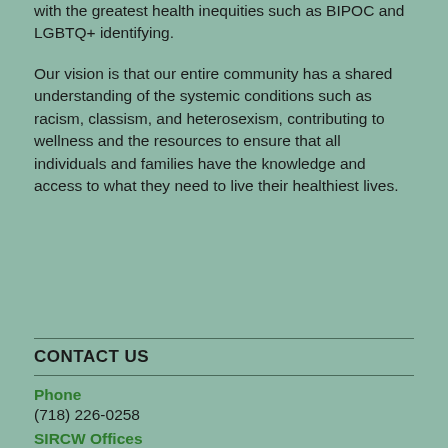with the greatest health inequities such as BIPOC and LGBTQ+ identifying.
Our vision is that our entire community has a shared understanding of the systemic conditions such as racism, classism, and heterosexism, contributing to wellness and the resources to ensure that all individuals and families have the knowledge and access to what they need to live their healthiest lives.
CONTACT US
Phone
(718) 226-0258
SIRCW Offices